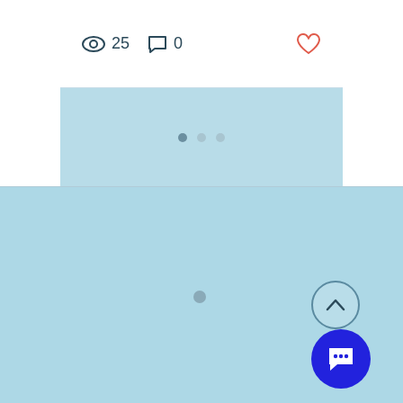[Figure (screenshot): Screenshot of a web page/app UI. Top section shows a white card with view count (eye icon, 25), comment count (chat icon, 0), and a heart/like icon in red/orange. Below the card are three pagination dots (first filled, two lighter). The main area is a light blue background. A small loading/spinner dot appears in the center-upper portion of the blue area. Bottom-right has a scroll-to-top button (circle with chevron up) and a blue chat button (circle with chat bubble icon).]